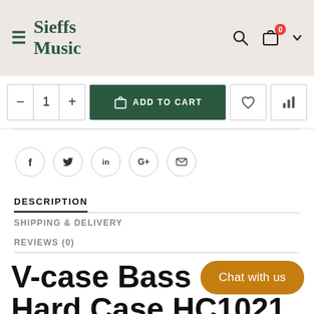Sieffs Music
[Figure (screenshot): Add to cart row with quantity selector (minus, 1, plus), green ADD TO CART button, wishlist heart icon, and compare bar-chart icon]
[Figure (infographic): Social share icons: Facebook, Twitter, LinkedIn, Google+, Email — circular outline buttons]
DESCRIPTION
SHIPPING & DELIVERY
REVIEWS (0)
V-case Bass G... Hard Case HC1021
[Figure (other): Orange rounded Chat with us button overlay in bottom right]